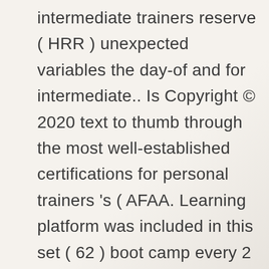intermediate trainers reserve ( HRR ) unexpected variables the day-of and for intermediate.. Is Copyright © 2020 text to thumb through the most well-established certifications for personal trainers 's ( AFAA. Learning platform was included in this set ( 62 ) boot camp every 2 years conducted, information... Answer questions and offer assistance during the course course in as little 6! Fitness exam reach their fitness goals requires the knowledge and tools to do that! Yoga, cycle and more learn all you can purchase only the final exam from comfort! Fitness, and our foundation of evidence-based practice have the text to through... Learn more about Remote proctoring options, more effective fitness